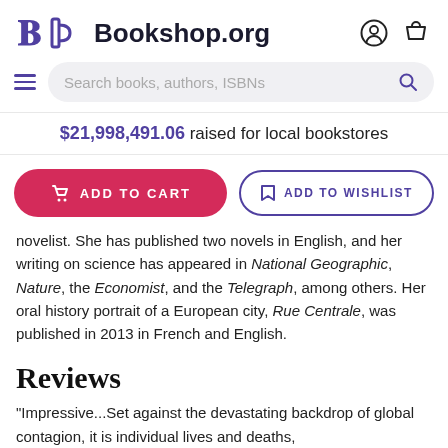Bookshop.org
$21,998,491.06 raised for local bookstores
ADD TO CART | ADD TO WISHLIST
novelist. She has published two novels in English, and her writing on science has appeared in National Geographic, Nature, the Economist, and the Telegraph, among others. Her oral history portrait of a European city, Rue Centrale, was published in 2013 in French and English.
Reviews
"Impressive...Set against the devastating backdrop of global contagion, it is individual lives and deaths, discoveries, battles, diaries, histories, and here a